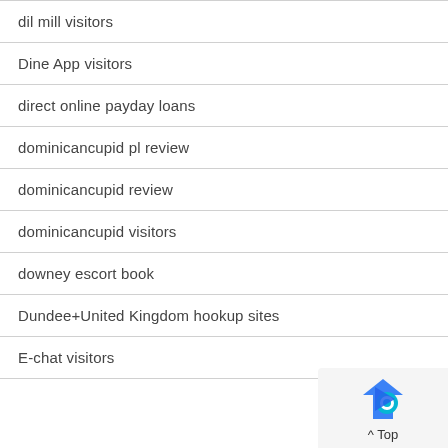dil mill visitors
Dine App visitors
direct online payday loans
dominicancupid pl review
dominicancupid review
dominicancupid visitors
downey escort book
Dundee+United Kingdom hookup sites
E-chat visitors